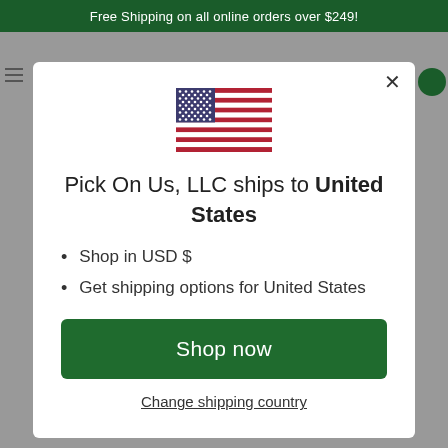Free Shipping on all online orders over $249!
[Figure (illustration): US flag emoji/illustration centered in modal]
Pick On Us, LLC ships to United States
Shop in USD $
Get shipping options for United States
Shop now
Change shipping country